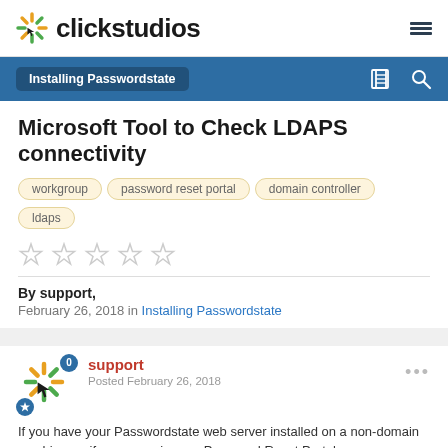clickstudios
Installing Passwordstate
Microsoft Tool to Check LDAPS connectivity
workgroup
password reset portal
domain controller
ldaps
By support,
February 26, 2018 in Installing Passwordstate
support
Posted February 26, 2018
If you have your Passwordstate web server installed on a non-domain machine, or if you are using our Password Reset Portal